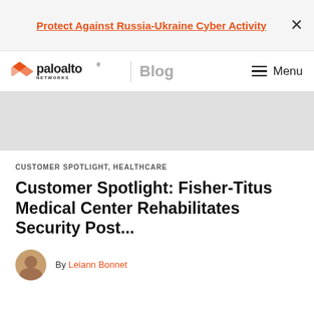Protect Against Russia-Ukraine Cyber Activity
[Figure (logo): Palo Alto Networks logo with 'paloalto NETWORKS' text and orange chevron icon, followed by 'Blog' label and Menu button]
[Figure (other): Gray advertisement placeholder banner]
CUSTOMER SPOTLIGHT, HEALTHCARE
Customer Spotlight: Fisher-Titus Medical Center Rehabilitates Security Post...
By Leiann Bonnet